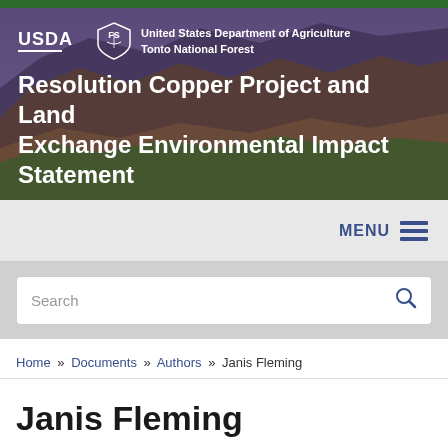[Figure (illustration): USDA Forest Service banner with purple-tinted mountain landscape background, USDA and Forest Service logos, agency name 'United States Department of Agriculture Tonto National Forest', and title 'Resolution Copper Project and Land Exchange Environmental Impact Statement' in white text]
MENU
Search
Home » Documents » Authors » Janis Fleming
Janis Fleming